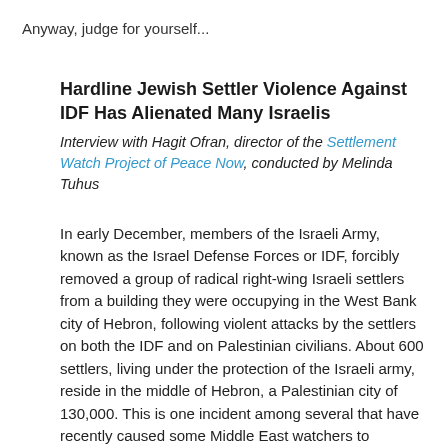Anyway, judge for yourself...
Hardline Jewish Settler Violence Against IDF Has Alienated Many Israelis
Interview with Hagit Ofran, director of the Settlement Watch Project of Peace Now, conducted by Melinda Tuhus
In early December, members of the Israeli Army, known as the Israel Defense Forces or IDF, forcibly removed a group of radical right-wing Israeli settlers from a building they were occupying in the West Bank city of Hebron, following violent attacks by the settlers on both the IDF and on Palestinian civilians. About 600 settlers, living under the protection of the Israeli army, reside in the middle of Hebron, a Palestinian city of 130,000. This is one incident among several that have recently caused some Middle East watchers to conclude that relations